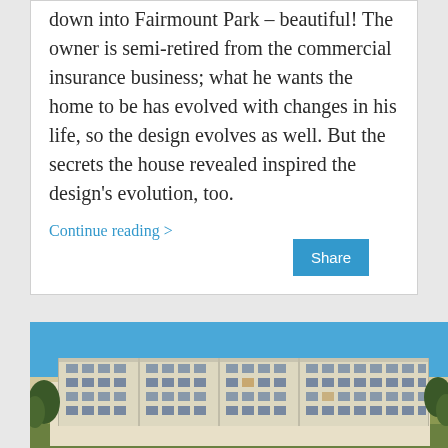down into Fairmount Park – beautiful! The owner is semi-retired from the commercial insurance business; what he wants the home to be has evolved with changes in his life, so the design evolves as well. But the secrets the house revealed inspired the design's evolution, too.
Continue reading >
[Figure (photo): Exterior photograph of a multi-story residential or commercial building (approximately 5 stories) with a cream/beige facade, numerous windows, balconies, set against a clear blue sky with green lawn in the foreground and trees on both sides.]